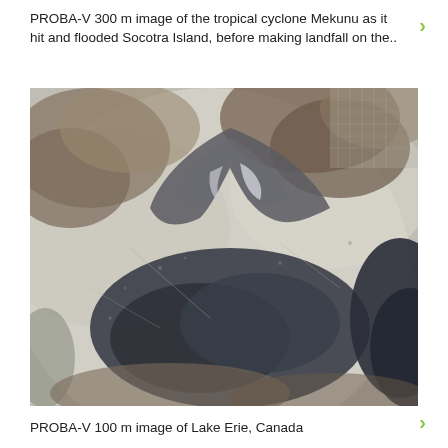PROBA-V 300 m image of the tropical cyclone Mekunu as it hit and flooded Socotra Island, before making landfall on the..
[Figure (photo): Satellite image of Lake Erie, Canada showing ice and open water patterns, with grey-blue ice formations and dark water areas visible from above.]
PROBA-V 100 m image of Lake Erie, Canada